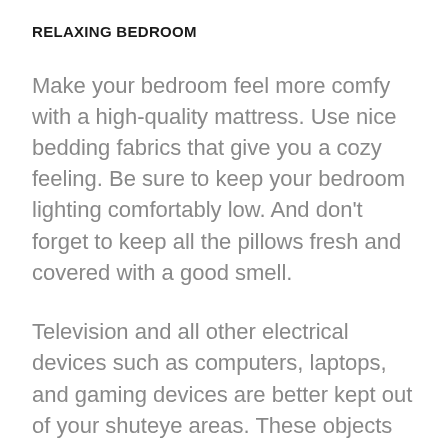RELAXING BEDROOM
Make your bedroom feel more comfy with a high-quality mattress. Use nice bedding fabrics that give you a cozy feeling. Be sure to keep your bedroom lighting comfortably low. And don't forget to keep all the pillows fresh and covered with a good smell.
Television and all other electrical devices such as computers, laptops, and gaming devices are better kept out of your shuteye areas. These objects can easily steal your sleep at night so don't give them any chance. Bedroom's temperature is also